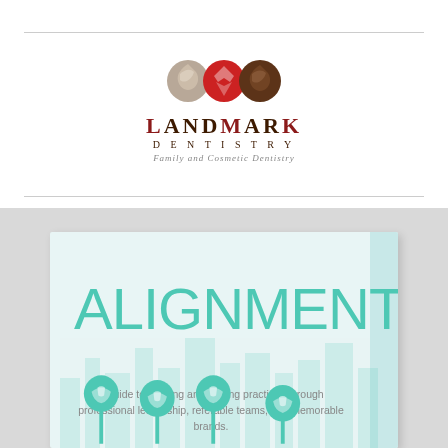[Figure (logo): LandMark Dentistry logo with three overlapping circle icons (tan, red, brown) containing tooth/leaf shapes, with text 'LandMark Dentistry - Family and Cosmetic Dentistry']
[Figure (illustration): Book cover preview showing 'ALIGNMENT' in large teal text with subtitle 'A guide to aligning and scaling practices through professional leadership, referable teams, and memorable brands.' and decorative tooth icons on stems against a city skyline background]